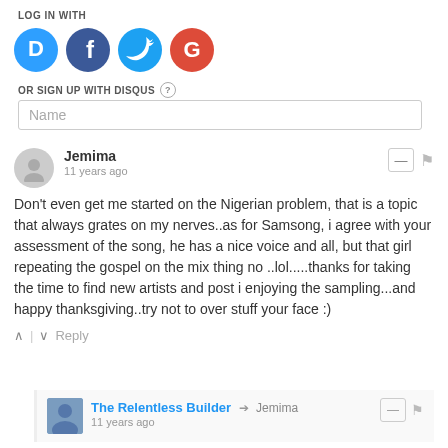LOG IN WITH
[Figure (illustration): Four social login icons: Disqus (blue circle with D), Facebook (dark blue circle with f), Twitter (light blue circle with bird), Google (red circle with G)]
OR SIGN UP WITH DISQUS ?
Name
Jemima
11 years ago
Don't even get me started on the Nigerian problem, that is a topic that always grates on my nerves..as for Samsong, i agree with your assessment of the song, he has a nice voice and all, but that girl repeating the gospel on the mix thing no ..lol.....thanks for taking the time to find new artists and post i enjoying the sampling...and happy thanksgiving..try not to over stuff your face :)
^ | v Reply
The Relentless Builder → Jemima
11 years ago